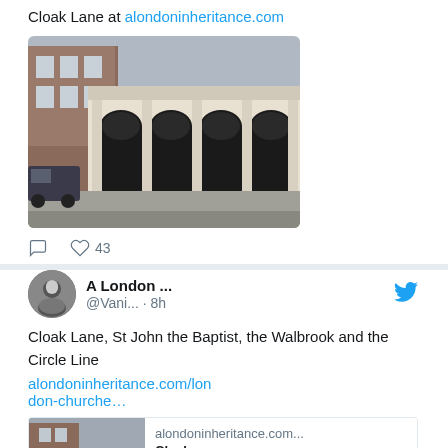Cloak Lane at alondoninheritance.com
[Figure (photo): Street-level photo of a Georgian/neoclassical building facade with arched iron gates, on Cloak Lane, London]
43 likes
A London ... @Vani... · 8h
Cloak Lane, St John the Baptist, the Walbrook and the Circle Line alondoninheritance.com/london-churche…
[Figure (screenshot): Preview card with thumbnail image of building and text: alondoninheritance.com / Cloak...]